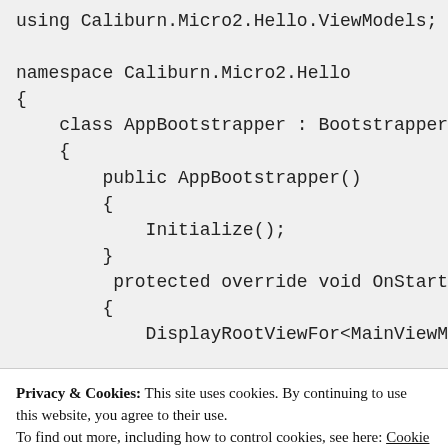[Figure (screenshot): Code block showing C# source code with using statements, namespace declaration, class AppBootstrapper inheriting BootstrapperBase, constructor calling Initialize(), and protected override void OnStartup method with DisplayRootViewFor<MainViewModel> call. Background is light gray.]
Privacy & Cookies: This site uses cookies. By continuing to use this website, you agree to their use.
To find out more, including how to control cookies, see here: Cookie Policy
Close and accept
Advertisements